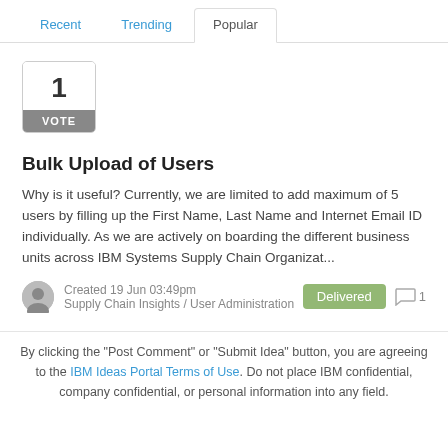Recent | Trending | Popular
[Figure (other): Vote box showing '1 VOTE' with grey background label]
Bulk Upload of Users
Why is it useful? Currently, we are limited to add maximum of 5 users by filling up the First Name, Last Name and Internet Email ID individually. As we are actively on boarding the different business units across IBM Systems Supply Chain Organizat...
Created 19 Jun 03:49pm
Supply Chain Insights / User Administration
Delivered   [comment icon] 1
By clicking the "Post Comment" or "Submit Idea" button, you are agreeing to the IBM Ideas Portal Terms of Use. Do not place IBM confidential, company confidential, or personal information into any field.